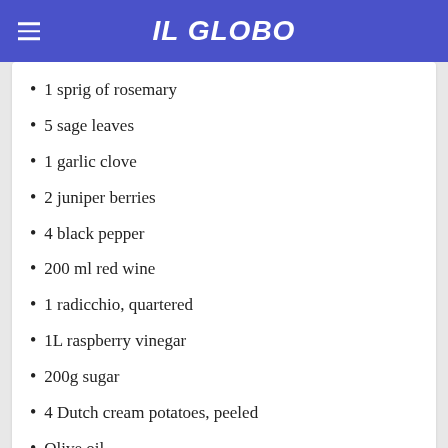IL GLOBO
1 sprig of rosemary
5 sage leaves
1 garlic clove
2 juniper berries
4 black pepper
200 ml red wine
1 radicchio, quartered
1L raspberry vinegar
200g sugar
4 Dutch cream potatoes, peeled
Olive oil
Metodo
1. Preheat oven to 160°C.